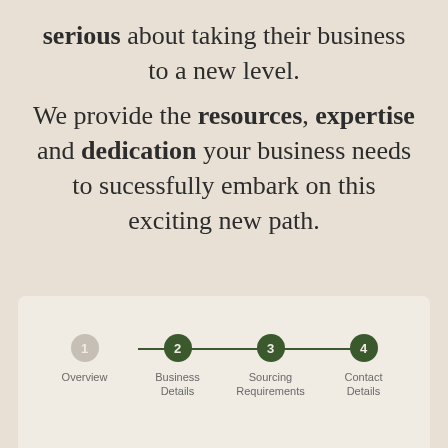serious about taking their business to a new level. We provide the resources, expertise and dedication your business needs to sucessfully embark on this exciting new path.
[Figure (infographic): A horizontal stepper/progress indicator with 4 steps: 1 Overview (inactive/grey), 2 Business Details (active/green), 3 Sourcing Requirements (active/green), 4 Contact Details (active/green). Steps connected by a dark green horizontal line.]